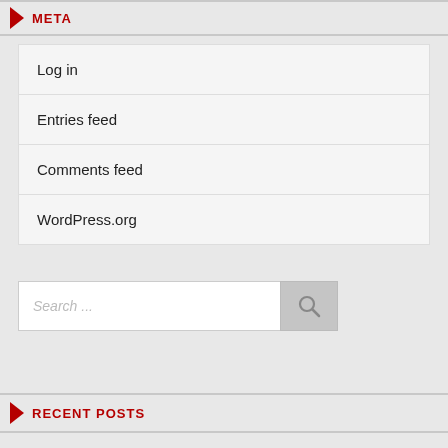META
Log in
Entries feed
Comments feed
WordPress.org
Search ...
RECENT POSTS